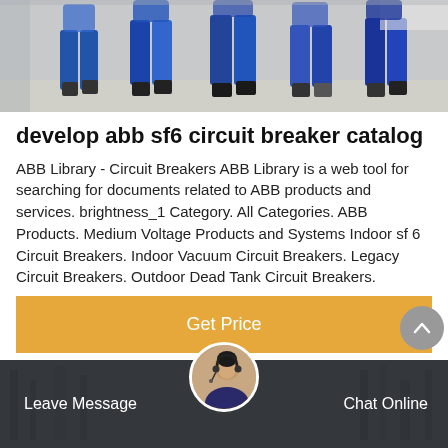[Figure (photo): Workers/people walking in an industrial facility, wearing blue work clothes and jeans, viewed from below the waist.]
develop abb sf6 circuit breaker catalog
ABB Library - Circuit Breakers ABB Library is a web tool for searching for documents related to ABB products and services. brightness_1 Category. All Categories. ABB Products. Medium Voltage Products and Systems Indoor sf 6 Circuit Breakers. Indoor Vacuum Circuit Breakers. Legacy Circuit Breakers. Outdoor Dead Tank Circuit Breakers.
[Figure (other): Orange 'Get Price' button]
[Figure (photo): Bottom banner showing industrial equipment in dark background with a customer service representative avatar in the center, 'Leave Message' on left and 'Chat Online' on right in white text on dark bar.]